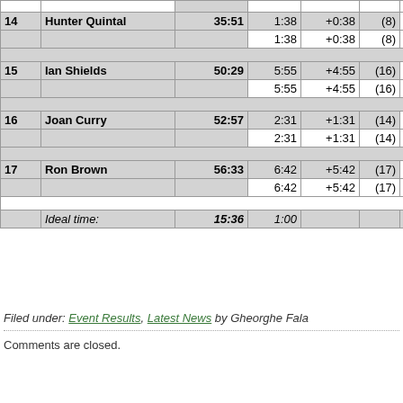| # | Name | Time | Split | Diff | Rank | Extra |
| --- | --- | --- | --- | --- | --- | --- |
| 14 | Hunter Quintal | 35:51 | 1:38 | +0:38 | (8) | 3 |
|  |  |  | 1:38 | +0:38 | (8) | 2 |
|  |  |  |  |  |  |  |
| 15 | Ian Shields | 50:29 | 5:55 | +4:55 | (16) | 8 |
|  |  |  | 5:55 | +4:55 | (16) | 2 |
|  |  |  |  |  |  |  |
| 16 | Joan Curry | 52:57 | 2:31 | +1:31 | (14) | 6 |
|  |  |  | 2:31 | +1:31 | (14) | 3 |
|  |  |  |  |  |  |  |
| 17 | Ron Brown | 56:33 | 6:42 | +5:42 | (17) | 9 |
|  |  |  | 6:42 | +5:42 | (17) | 3 |
|  |  |  |  |  |  |  |
|  | Ideal time: | 15:36 | 1:00 |  |  | 0 |
Filed under: Event Results, Latest News by Gheorghe Fala
Comments are closed.